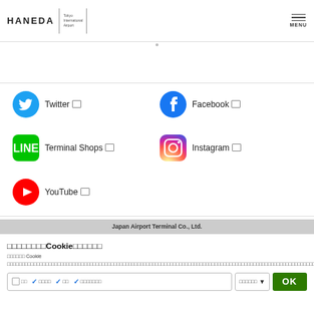HANEDA Tokyo International Airport | MENU
Twitter (external link)
Facebook (external link)
Terminal Shops (external link)
Instagram (external link)
YouTube (external link)
Japan Airport Terminal Co., Ltd.
このサイトではCookieを使用しています
当サイトは Cookie を使用しています。Cookie は閲覧状況の把握やサービス向上のために使用しています。また、お客様の興味に応じた広告・サービスの表示最適化のためにクッキーを使用しています。詳細は「クッキーポリシー」をご確認ください。
必須 | 利便性向上 | 広告 | アクセス解析・広告最適化 | 設定を変更する | OK